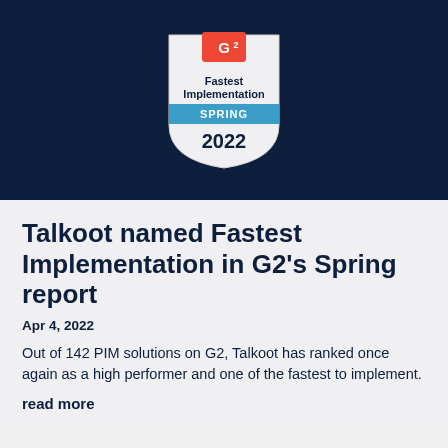[Figure (logo): G2 Fastest Implementation Spring 2022 badge/award shield on a dark navy background]
Talkoot named Fastest Implementation in G2’s Spring report
Apr 4, 2022
Out of 142 PIM solutions on G2, Talkoot has ranked once again as a high performer and one of the fastest to implement.
read more